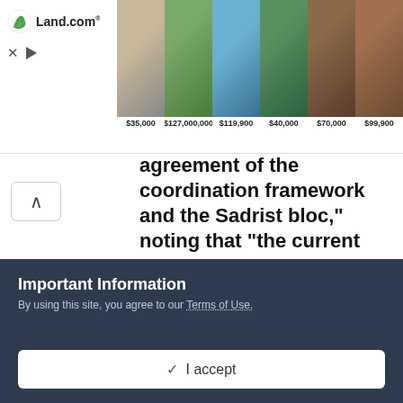[Figure (screenshot): Land.com advertisement banner showing 6 property photos with prices: $35,000, $127,000,000, $119,900, $40,000, $70,000, $99,900]
agreement of the coordination framework and the Sadrist bloc," noting that "the current reality requires that there be consensus government. Al-Rikabi added, "The negotiations and meetings so far have not reached the stage of forming a government or
Important Information
By using this site, you agree to our Terms of Use.
✓  I accept